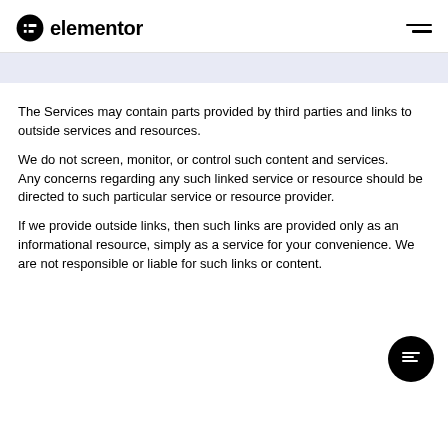elementor
The Services may contain parts provided by third parties and links to outside services and resources.
We do not screen, monitor, or control such content and services.
Any concerns regarding any such linked service or resource should be directed to such particular service or resource provider.
If we provide outside links, then such links are provided only as an informational resource, simply as a service for your convenience. We are not responsible or liable for such links or content.